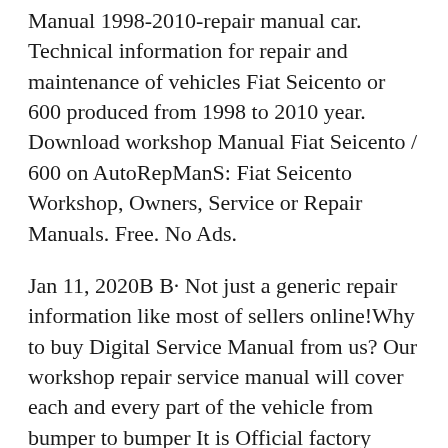Manual 1998-2010-repair manual car. Technical information for repair and maintenance of vehicles Fiat Seicento or 600 produced from 1998 to 2010 year. Download workshop Manual Fiat Seicento / 600 on AutoRepManS: Fiat Seicento Workshop, Owners, Service or Repair Manuals. Free. No Ads.
Jan 11, 2020B B· Not just a generic repair information like most of sellers online!Why to buy Digital Service Manual from us? Our workshop repair service manual will cover each and every part of the vehicle from bumper to bumper It is Official factory repair service manual for entry 2002 Fiat Seicento You will get workshop repair service manual right away in Sep 05, 2012B B· Fiat cinquecento manual pdf